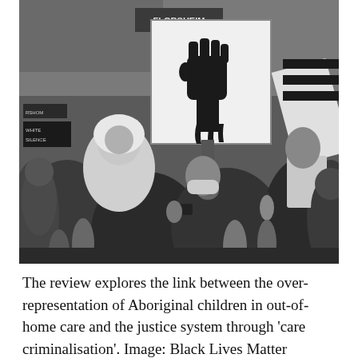[Figure (photo): Black and white photograph of a crowd of protesters on a city street. A person in the center holds up a large white sign featuring a black raised fist (Black Power fist symbol). Other protesters hold signs and phones. A 'FLORSHEIM' store sign is visible in the background. Some protesters wear face masks.]
The review explores the link between the over-representation of Aboriginal children in out-of-home care and the justice system through 'care criminalisation'. Image: Black Lives Matter